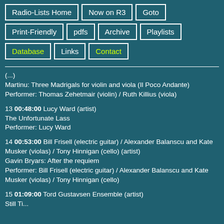Radio-Lists Home
Now on R3
Goto
Print-Friendly
pdfs
Archive
Playlists
Database
Links
Contact
(...)
Martinu: Three Madrigals for violin and viola (Il Poco Andante)
Performer: Thomas Zehetmair (violin) / Ruth Killius (viola)
13 00:48:00 Lucy Ward (artist)
The Unfortunate Lass
Performer: Lucy Ward
14 00:53:00 Bill Frisell (electric guitar) / Alexander Balanscu and Kate Musker (violas) / Tony Hinnigan (cello) (artist)
Gavin Bryars: After the requiem
Performer: Bill Frisell (electric guitar) / Alexander Balanscu and Kate Musker (violas) / Tony Hinnigan (cello)
15 01:09:00 Tord Gustavsen Ensemble (artist)
Still Ti...